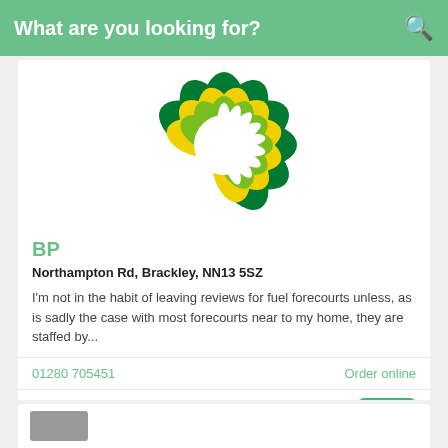What are you looking for?
[Figure (logo): BP logo — green and yellow flower/sunburst pattern on white background]
BP
Northampton Rd, Brackley, NN13 5SZ
I'm not in the habit of leaving reviews for fuel forecourts unless, as is sadly the case with most forecourts near to my home, they are staffed by...
01280 705451
Order online
Average 14 Reviews 3.2